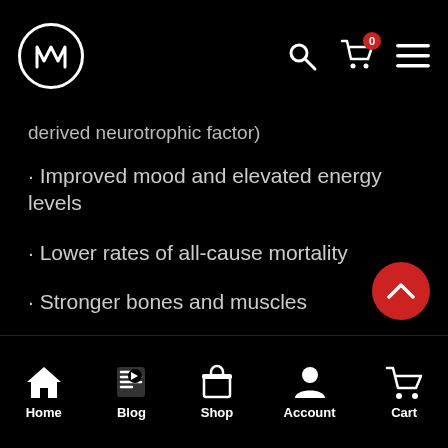M [logo] | search | cart (0) | menu
derived neurotrophic factor)
· Improved mood and elevated energy levels
· Lower rates of all-cause mortality
· Stronger bones and muscles
· Healthy body composition and weight management
· Decreased risk of heart disease, diabetes, and cancer (did you know that sitting for too long will
Home | Blog | Shop | Account | Cart